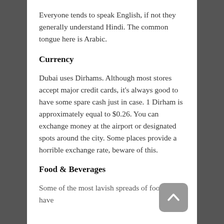Everyone tends to speak English, if not they generally understand Hindi. The common tongue here is Arabic.
Currency
Dubai uses Dirhams. Although most stores accept major credit cards, it's always good to have some spare cash just in case. 1 Dirham is approximately equal to $0.26. You can exchange money at the airport or designated spots around the city. Some places provide a horrible exchange rate, beware of this.
Food & Beverages
Some of the most lavish spreads of food that I have